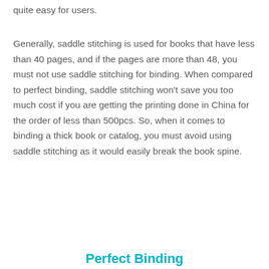quite easy for users.
Generally, saddle stitching is used for books that have less than 40 pages, and if the pages are more than 48, you must not use saddle stitching for binding. When compared to perfect binding, saddle stitching won't save you too much cost if you are getting the printing done in China for the order of less than 500pcs. So, when it comes to binding a thick book or catalog, you must avoid using saddle stitching as it would easily break the book spine.
Perfect Binding